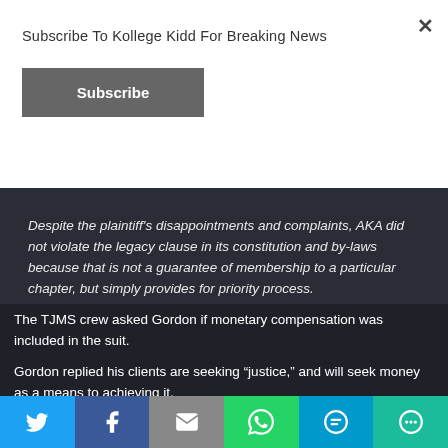Subscribe To Kollege Kidd For Breaking News
Subscribe
Despite the plaintiff's disappointments and complaints, AKA did not violate the legacy clause in its constitution and by-laws because that is not a guarantee of membership to a particular chapter, but simply provides for priority process.
The TJMS crew asked Gordon if monetary compensation was included in the suit.
Gordon replied his clients are seeking “justice,” and will seek money as a means to achieving it.
Gordon revealed he and his clients have “demanded over $75,000” to “meet the minimum threshold of Federal Court.”